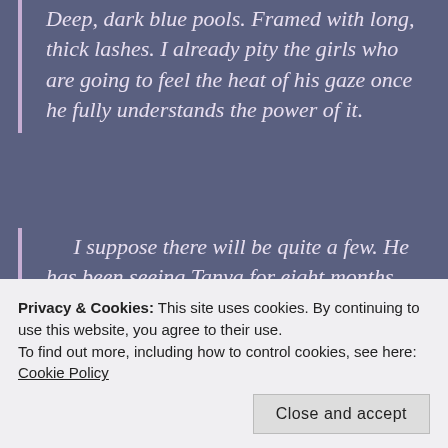Deep, dark blue pools. Framed with long, thick lashes. I already pity the girls who are going to feel the heat of his gaze once he fully understands the power of it.
I suppose there will be quite a few. He has been seeing Tanya for eight months now; it's serious but it can't be it. He's too young. There were girls before her, and there will be others after.
Privacy & Cookies: This site uses cookies. By continuing to use this website, you agree to their use. To find out more, including how to control cookies, see here: Cookie Policy
Liam shrugs. He thinks I'm being flin...